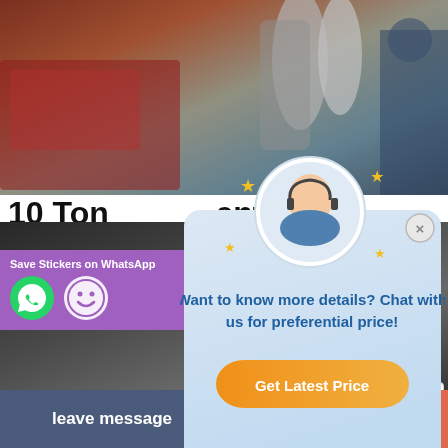[Figure (photo): Industrial machinery photo at the top of the page]
10 Ton ...ent...
Jul 24, 20...
manufactu... the latest technology... with the developme... or a cle...
[Figure (screenshot): Chat popup overlay with customer service agent avatar, text 'Want to know more details? Chat with us for preferential price!' and a 'Get Latest Price' button]
Read More
[Figure (photo): Industrial equipment photo at the bottom of the page]
Save Stickers on WhatsApp
leave message
Inquiry Online